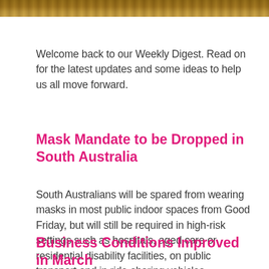[Figure (photo): Partial photo strip at the top of the page showing a wooden surface texture]
Welcome back to our Weekly Digest. Read on for the latest updates and some ideas to help us all move forward.
Mask Mandate to be Dropped in South Australia
South Australians will be spared from wearing masks in most public indoor spaces from Good Friday, but will still be required in high-risk settings such as hospitals, aged care or residential disability facilities, on public transport and in ride-sharing vehicles.
Business Conditions Improved in March